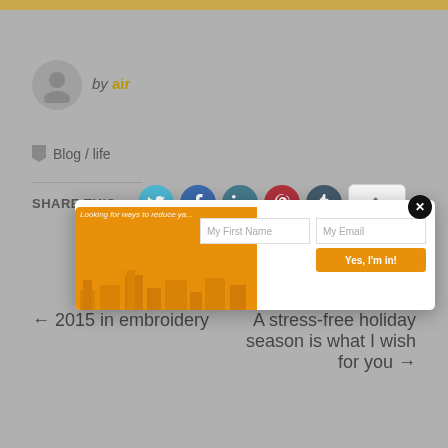[Figure (screenshot): Gold bar at the top of the page]
[Figure (illustration): Circular avatar/profile icon in gray]
by air
Blog / life
SHARE THIS:
[Figure (screenshot): Social media sharing icons: Twitter (blue), Facebook (dark blue), LinkedIn (teal), Pinterest (red), Tumblr (dark), and a share button]
[Figure (screenshot): Email signup modal popup with orange banner on left, form fields for My First Name and My Email, a Yes I'm in! button, and a close X button]
← 2015 in embroidery
A stress-free holiday season is what I wish for you →